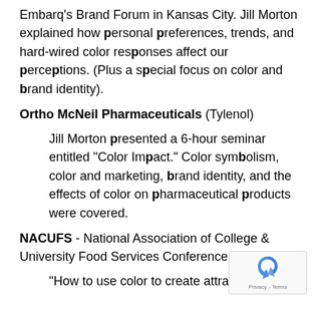Embarq's Brand Forum in Kansas City. Jill Morton explained how personal preferences, trends, and hard-wired color responses affect our perceptions. (Plus a special focus on color and brand identity).
Ortho McNeil Pharmaceuticals (Tylenol)
Jill Morton presented a 6-hour seminar entitled "Color Impact." Color symbolism, color and marketing, brand identity, and the effects of color on pharmaceutical products were covered.
NACUFS - National Association of College & University Food Services Conference
"How to use color to create attractive and